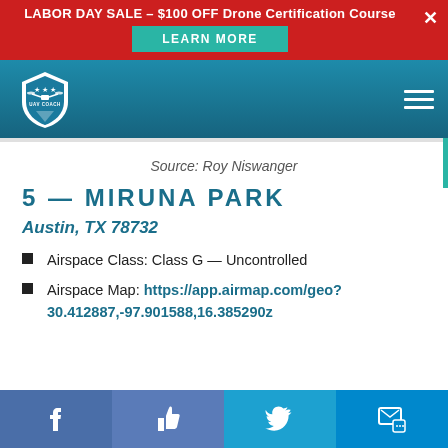LABOR DAY SALE - $100 OFF Drone Certification Course | LEARN MORE
[Figure (logo): UAV Coach logo - shield with drone graphic and stars, on teal navigation header with hamburger menu]
Source: Roy Niswanger
5 — MIRUNA PARK
Austin, TX 78732
Airspace Class: Class G — Uncontrolled
Airspace Map: https://app.airmap.com/geo?30.412887,-97.901588,16.385290z
Facebook | Like | Twitter | Message